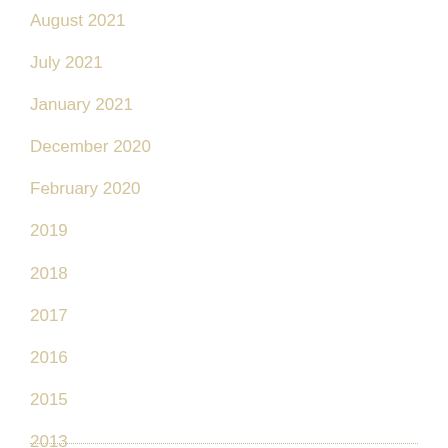August 2021
July 2021
January 2021
December 2020
February 2020
2019
2018
2017
2016
2015
2013